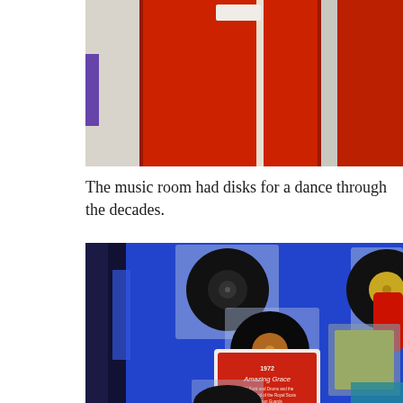[Figure (photo): Photo of a red-walled room, partially cropped at top, showing red lockers or panels against a white/grey wall.]
The music room had disks for a dance through the decades.
[Figure (photo): Photo of vinyl records displayed on a bright blue board, with plastic sleeves. A red label reads '1972 Amazing Grace' with additional small text below. Various sizes of records visible including a golden-labelled one.]